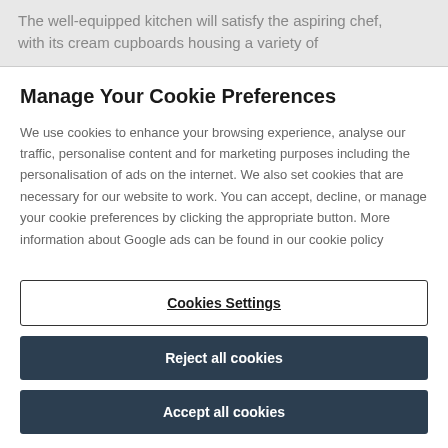The well-equipped kitchen will satisfy the aspiring chef, with its cream cupboards housing a variety of
Manage Your Cookie Preferences
We use cookies to enhance your browsing experience, analyse our traffic, personalise content and for marketing purposes including the personalisation of ads on the internet. We also set cookies that are necessary for our website to work. You can accept, decline, or manage your cookie preferences by clicking the appropriate button. More information about Google ads can be found in our cookie policy
Cookies Settings
Reject all cookies
Accept all cookies